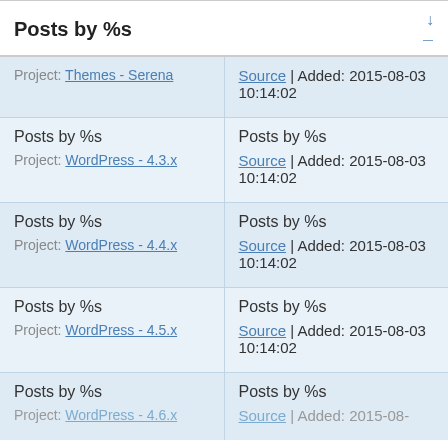| Posts by %s | ↓ |
| --- | --- |
| Project: Themes - Serena | Source | Added: 2015-08-03 10:14:02 |
| Posts by %s
Project: WordPress - 4.3.x | Posts by %s
Source | Added: 2015-08-03 10:14:02 |
| Posts by %s
Project: WordPress - 4.4.x | Posts by %s
Source | Added: 2015-08-03 10:14:02 |
| Posts by %s
Project: WordPress - 4.5.x | Posts by %s
Source | Added: 2015-08-03 10:14:02 |
| Posts by %s
Project: WordPress - 4.6.x | Posts by %s
Source | Added: 2015-08-03 10:14:02 |